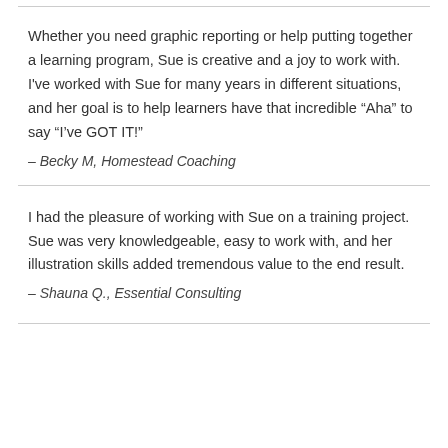Whether you need graphic reporting or help putting together a learning program, Sue is creative and a joy to work with. I've worked with Sue for many years in different situations, and her goal is to help learners have that incredible “Aha” to say “I’ve GOT IT!”
– Becky M, Homestead Coaching
I had the pleasure of working with Sue on a training project. Sue was very knowledgeable, easy to work with, and her illustration skills added tremendous value to the end result.
– Shauna Q., Essential Consulting